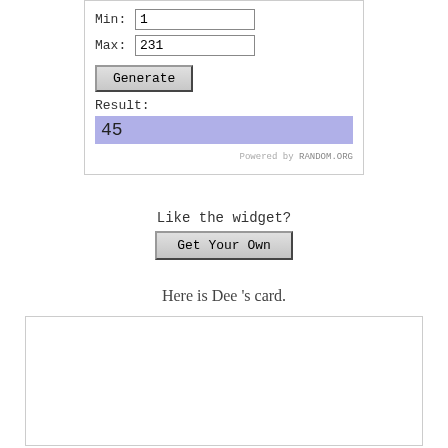[Figure (screenshot): Random number generator widget showing Min field, Max field with value 231, Generate button, Result label, result value 45 highlighted in blue-purple, and 'Powered by RANDOM.ORG' text]
Like the widget?
Get Your Own
Here is Dee 's card.
[Figure (other): Empty white card box with light border]